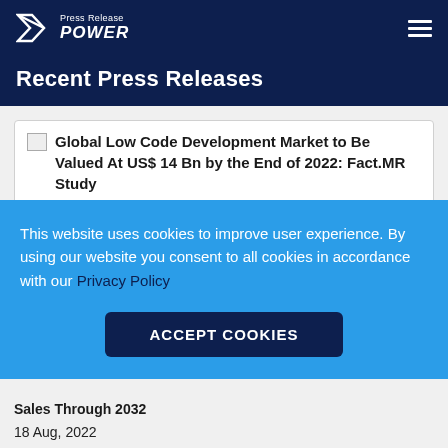Press Release POWER
Recent Press Releases
[Figure (screenshot): Broken image placeholder with article title: Global Low Code Development Market to Be Valued At US$ 14 Bn by the End of 2022: Fact.MR Study]
Global Low Code Development Market to Be Valued At US$ 14 Bn by the End of 2022: Fact.MR Study
18 Aug, 2022
This website uses cookies to improve user experience. By using our website you consent to all cookies in accordance with our Privacy Policy
ACCEPT COOKIES
Sales Through 2032
18 Aug, 2022